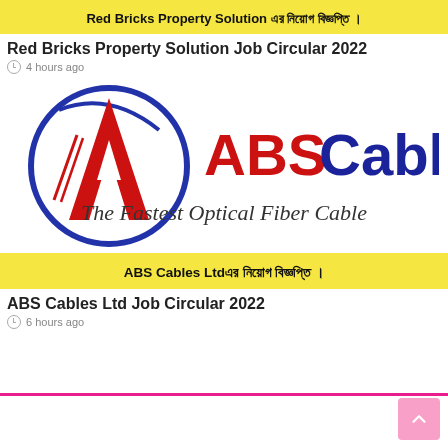[Figure (illustration): Red Bricks Property Solution job circular banner with yellow background and Bengali text]
Red Bricks Property Solution Job Circular 2022
4 hours ago
[Figure (logo): ABS Cables Ltd. logo with blue circle, red A letter mark, and tagline 'The Fastest Optical Fiber Cable']
[Figure (illustration): ABS Cables Ltd job circular banner with yellow background and Bengali text]
ABS Cables Ltd Job Circular 2022
6 hours ago